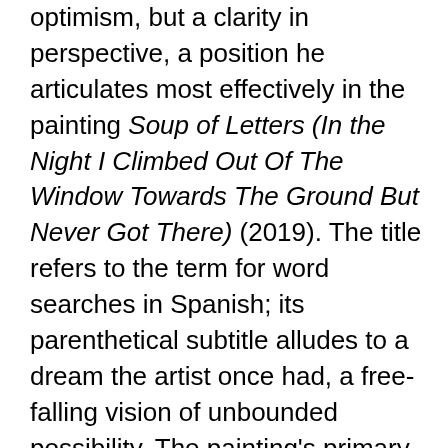optimism, but a clarity in perspective, a position he articulates most effectively in the painting Soup of Letters (In the Night I Climbed Out Of The Window Towards The Ground But Never Got There) (2019). The title refers to the term for word searches in Spanish; its parenthetical subtitle alludes to a dream the artist once had, a free-falling vision of unbounded possibility. The painting's primary color palette and geometric form are immediately compelling, but it is upon close looking that the painting reveals itself to be the coda of this exhibition. To unlock the visual and spiritual potential within this painting, the viewer must suspend disbelief, must shed the blithe indifference and calculated antipathy so tacitly endorsed by contemporary society. The painting is an invitation. It is a way of